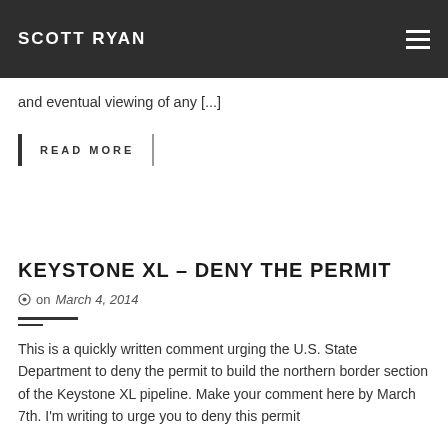SCOTT RYAN
and eventual viewing of any [...]
READ MORE
KEYSTONE XL – DENY THE PERMIT
on March 4, 2014
This is a quickly written comment urging the U.S. State Department to deny the permit to build the northern border section of the Keystone XL pipeline. Make your comment here by March 7th. I'm writing to urge you to deny this permit